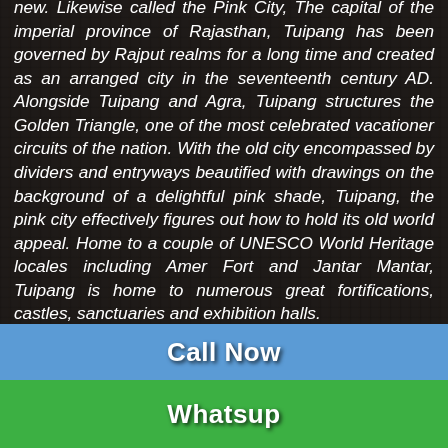new. Likewise called the Pink City, The capital of the imperial province of Rajasthan, Tuipang has been governed by Rajput realms for a long time and created as an arranged city in the seventeenth century AD. Alongside Tuipang and Agra, Tuipang structures the Golden Triangle, one of the most celebrated vacationer circuits of the nation. With the old city encompassed by dividers and entryways beautified with drawings on the background of a delightful pink shade, Tuipang, the pink city effectively figures out how to hold its old world appeal. Home to a couple of UNESCO World Heritage locales including Amer Fort and Jantar Mantar, Tuipang is home to numerous great fortifications, castles, sanctuaries and exhibition halls.
Tuipang is filled to the overflow with clamoring nearby bazaars where you can search for neighborhood handiworks and knickknacks however much you might want. Well known bazaars in the city incorporate Banu...
Call Now
Whatsup